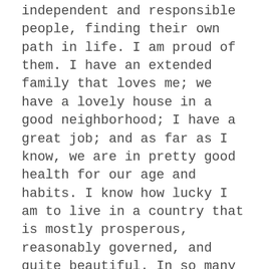independent and responsible people, finding their own path in life. I am proud of them. I have an extended family that loves me; we have a lovely house in a good neighborhood; I have a great job; and as far as I know, we are in pretty good health for our age and habits. I know how lucky I am to live in a country that is mostly prosperous, reasonably governed, and quite beautiful. In so many ways I have lived a charmed life, which I cannot necessarily attribute to wise decisions or abundant skill sets. On too many occasions to count, I have been in the right place at just the right time.
What I am also reminded of at this time of year is the contrast between my comfortable existence and the plight of so many people here and around the world. I